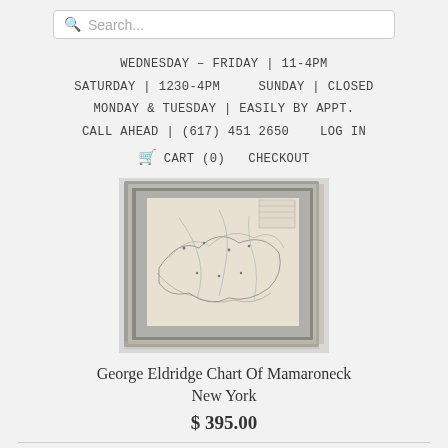Search...
WEDNESDAY - FRIDAY | 11-4PM
SATURDAY | 1230-4PM    SUNDAY | CLOSED
MONDAY & TUESDAY | EASILY BY APPT.
CALL AHEAD | (617) 451 2650    LOG IN
🛒 CART (0)   CHECKOUT
[Figure (photo): Framed antique nautical chart of Mamaroneck, New York, shown in a silver/grey frame with a grey mat, displayed against a white background.]
George Eldridge Chart Of Mamaroneck New York
$ 395.00